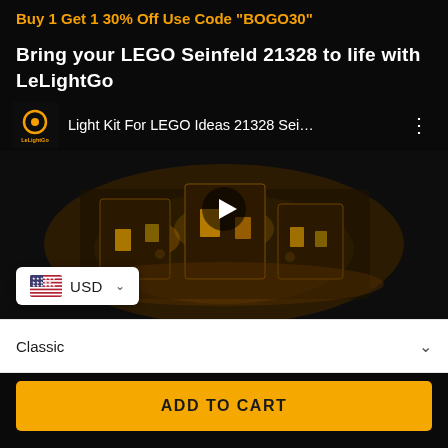Buy 1 Get 1 30% Off Use Code "BOGO30"
Bring your LEGO Seinfeld 21328 to life with LeLightGo
[Figure (screenshot): YouTube video thumbnail showing LeLightGo light kit for LEGO Ideas 21328 Seinfeld set, with channel logo, video title 'Light Kit For LEGO Ideas 21328 Sei…', play button overlay, and a currency selector badge showing USD with US flag]
Classic
ADD TO CART